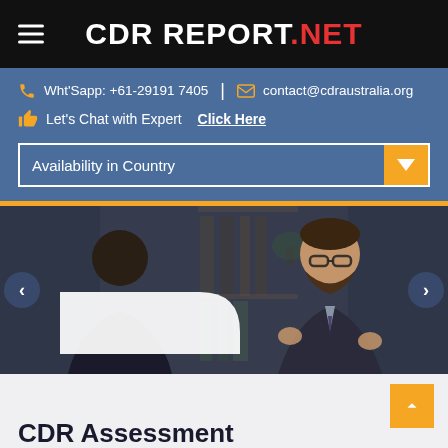CDR REPORT.NET
Wht'Sapp: +61-29191 7405 | contact@cdraustralia.org
Let's Chat with Expert  Click Here
Availability in Country
[Figure (photo): Two men having a professional discussion in an office setting with bookshelves in the background. One man is facing away from camera, the other man with glasses and beard is speaking animatedly.]
CDR Assessment